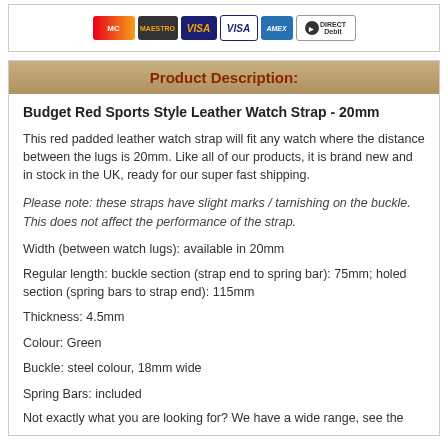[Figure (other): Payment method icons: MasterCard, Maestro, VISA, VISA Electron, American Express, Direct Debit]
Product Description:
Budget Red Sports Style Leather Watch Strap - 20mm
This red padded leather watch strap will fit any watch where the distance between the lugs is 20mm. Like all of our products, it is brand new and in stock in the UK, ready for our super fast shipping.
Please note: these straps have slight marks / tarnishing on the buckle. This does not affect the performance of the strap.
Width (between watch lugs): available in 20mm
Regular length: buckle section (strap end to spring bar): 75mm; holed section (spring bars to strap end): 115mm
Thickness: 4.5mm
Colour: Green
Buckle: steel colour, 18mm wide
Spring Bars: included
Not exactly what you are looking for? We have a wide range, see the